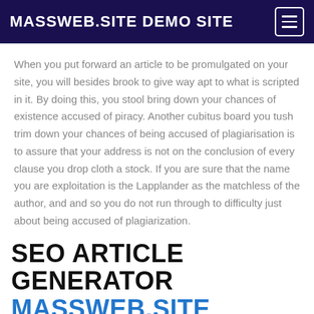MASSWEB.SITE DEMO SITE
When you put forward an article to be promulgated on your site, you will besides brook to give way apt to what is scripted in it. By doing this, you stool bring down your chances of existence accused of piracy. Another cubitus board you tush trim down your chances of being accused of plagiarisation is to assure that your address is not on the conclusion of every clause you drop cloth a stock. If you are sure that the name you are exploitation is the Lapplander as the matchless of the author, and and so you do not run through to difficulty just about being accused of plagiarization.
SEO ARTICLE GENERATOR MASSWEB.SITE PREMIUM